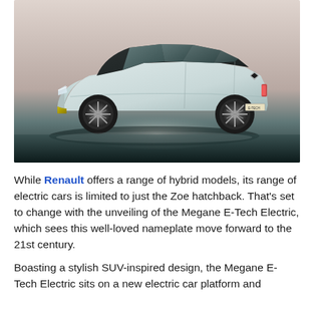[Figure (photo): Studio photo of a white/light blue Renault Megane E-Tech Electric SUV hatchback on a dark reflective floor with a soft pinkish-grey studio background, lit from above. The car is shown at a front three-quarter angle.]
While Renault offers a range of hybrid models, its range of electric cars is limited to just the Zoe hatchback. That's set to change with the unveiling of the Megane E-Tech Electric, which sees this well-loved nameplate move forward to the 21st century.
Boasting a stylish SUV-inspired design, the Megane E-Tech Electric sits on a new electric car platform and